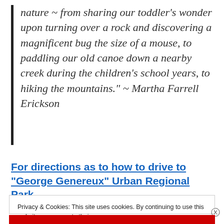nature ~ from sharing our toddler's wonder upon turning over a rock and discovering a magnificent bug the size of a mouse, to paddling our old canoe down a nearby creek during the children's school years, to hiking the mountains." ~ Martha Farrell Erickson
For directions as to how to drive to "George Genereux" Urban Regional Park
Privacy & Cookies: This site uses cookies. By continuing to use this website, you agree to their use.
To find out more, including how to control cookies, see here:
Cookie Policy
Close and accept